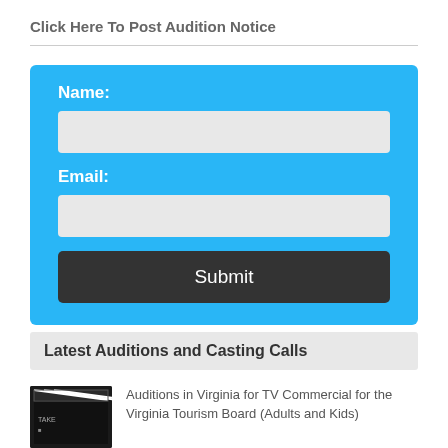Click Here To Post Audition Notice
[Figure (other): A web form with a blue background containing Name and Email text input fields and a dark Submit button]
Latest Auditions and Casting Calls
[Figure (photo): A clapperboard / film slate photo thumbnail in dark tones]
Auditions in Virginia for TV Commercial for the Virginia Tourism Board (Adults and Kids)